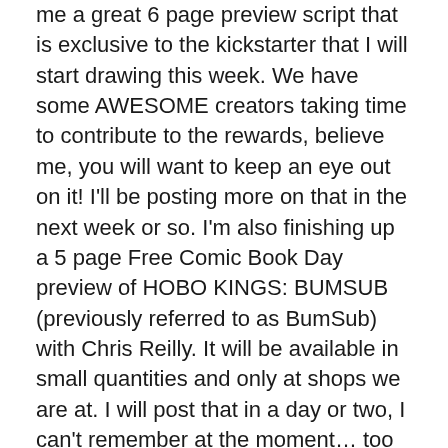me a great 6 page preview script that is exclusive to the kickstarter that I will start drawing this week. We have some AWESOME creators taking time to contribute to the rewards, believe me, you will want to keep an eye out on it! I'll be posting more on that in the next week or so. I'm also finishing up a 5 page Free Comic Book Day preview of HOBO KINGS: BUMSUB (previously referred to as BumSub) with Chris Reilly. It will be available in small quantities and only at shops we are at. I will post that in a day or two, I can't remember at the moment… too many all nighters me thinks.
I've also been catching up on various illustration projects. I am working on something that, unfortunately, I can't really share at the moment, but, it is something that put me in a position where I needed to consider a different style of drawing. I have always tried to be diverse in drawing